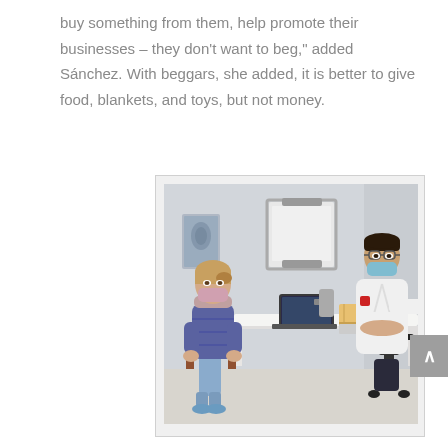buy something from them, help promote their businesses – they don't want to beg," added Sánchez. With beggars, she added, it is better to give food, blankets, and toys, but not money.
[Figure (photo): A patient wearing a face mask sits across a desk from a doctor in a white coat also wearing a face mask. A laptop and books are on the desk. An X-ray and a whiteboard are visible on the wall behind them. The setting appears to be a medical consultation room.]